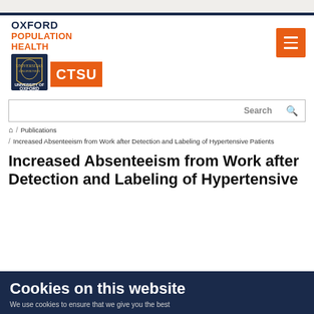[Figure (logo): Oxford Population Health CTSU logo with University of Oxford shield]
Search
/ Publications / Increased Absenteeism from Work after Detection and Labeling of Hypertensive Patients
Increased Absenteeism from Work after Detection and Labeling of Hypertensive
Cookies on this website
We use cookies to ensure that we give you the best